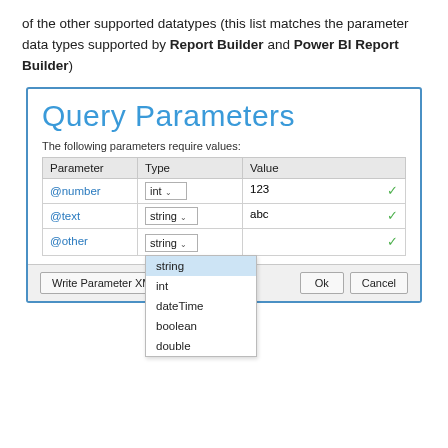of the other supported datatypes (this list matches the parameter data types supported by Report Builder and Power BI Report Builder)
[Figure (screenshot): Query Parameters dialog screenshot showing a table with Parameter, Type, and Value columns. Rows include @number (int, 123), @text (string, abc), and @other (string, empty). A dropdown is open on the @other row showing options: string (selected/highlighted), int, dateTime, boolean, double. Footer buttons: Write Parameter XML, Ok, Cancel.]